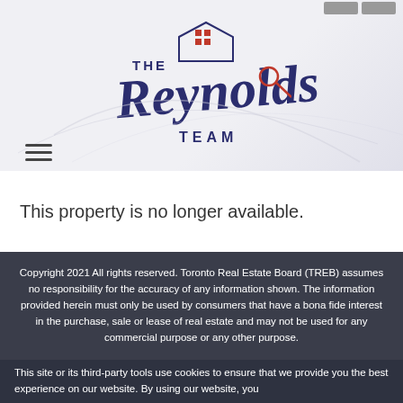[Figure (logo): The Reynolds Team real estate logo with stylized script text and house/key icon in navy blue and red]
This property is no longer available.
Copyright 2021 All rights reserved. Toronto Real Estate Board (TREB) assumes no responsibility for the accuracy of any information shown. The information provided herein must only be used by consumers that have a bona fide interest in the purchase, sale or lease of real estate and may not be used for any commercial purpose or any other purpose.
This site or its third-party tools use cookies to ensure that we provide you the best experience on our website. By using our website, you